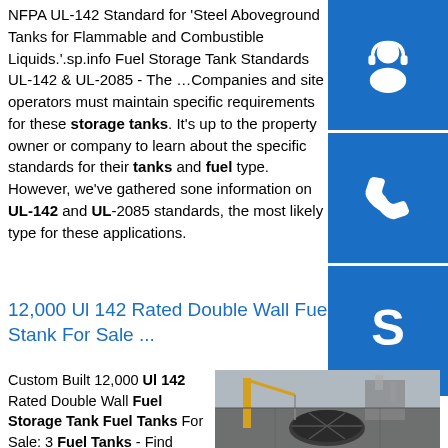NFPA UL-142 Standard for 'Steel Aboveground Tanks for Flammable and Combustible Liquids.'.sp.info Fuel Storage Tank Standards UL-142 & UL-2085 - The …Companies and site operators must maintain specific requirements for these storage tanks. It's up to the property owner or company to learn about the specific standards for their tanks and fuel type. However, we've gathered some information on UL-142 and UL-2085 standards, the most likely type for these applications.
[Figure (illustration): Blue square icon with white headset/customer support symbol]
[Figure (illustration): Blue square icon with white telephone/phone symbol]
[Figure (illustration): Blue square icon with white Skype logo symbol]
12,000 Ul 142 Rated Double Wall Fuel S Tank For Sale ...
Custom Built 12,000 Ul 142 Rated Double Wall Fuel Storage Tank Fuel Tanks For Sale: 3 Fuel Tanks - Find Custom Built 12,000 Ul 142 Rated Double Wall Fuel Storage Tank Fuel Tanks
[Figure (photo): Industrial site photo showing a large fuel storage tank from above with a yellow crane and industrial buildings in background]